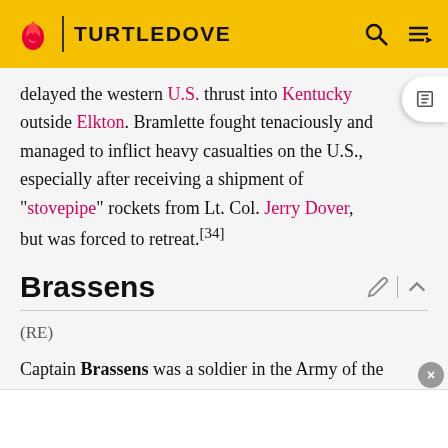TURTLEDOVE
delayed the western U.S. thrust into Kentucky outside Elkton. Bramlette fought tenaciously and managed to inflict heavy casualties on the U.S., especially after receiving a shipment of "stovepipe" rockets from Lt. Col. Jerry Dover, but was forced to retreat.[34]
Brassens
(RE)
Captain Brassens was a soldier in the Army of the Republic of Quebec. During the Second Great War he was